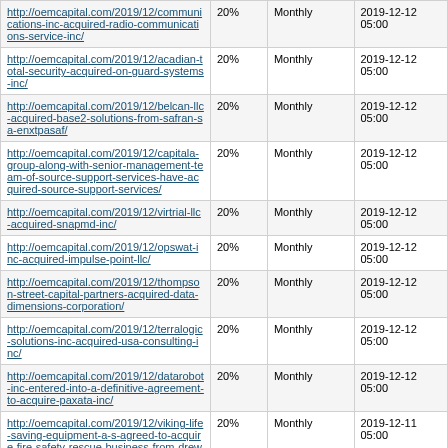| URL | Rate | Frequency | Date |
| --- | --- | --- | --- |
| http://oemcapital.com/2019/12/communications-inc-acquired-radio-communications-service-inc/ | 20% | Monthly | 2019-12-12 05:00 |
| http://oemcapital.com/2019/12/acadian-total-security-acquired-on-guard-systems-inc/ | 20% | Monthly | 2019-12-12 05:00 |
| http://oemcapital.com/2019/12/belcan-llc-acquired-base2-solutions-from-safran-sa-enxtpasaf/ | 20% | Monthly | 2019-12-12 05:00 |
| http://oemcapital.com/2019/12/capitala-group-along-with-senior-management-team-of-source-support-services-have-acquired-source-support-services/ | 20% | Monthly | 2019-12-12 05:00 |
| http://oemcapital.com/2019/12/virtrial-llc-acquired-snapmd-inc/ | 20% | Monthly | 2019-12-12 05:00 |
| http://oemcapital.com/2019/12/opswat-inc-acquired-impulse-point-llc/ | 20% | Monthly | 2019-12-12 05:00 |
| http://oemcapital.com/2019/12/thompson-street-capital-partners-acquired-data-dimensions-corporation/ | 20% | Monthly | 2019-12-12 05:00 |
| http://oemcapital.com/2019/12/terralogic-solutions-inc-acquired-usa-consulting-inc/ | 20% | Monthly | 2019-12-12 05:00 |
| http://oemcapital.com/2019/12/datarobot-inc-entered-into-a-definitive-agreement-to-acquire-paxata-inc/ | 20% | Monthly | 2019-12-12 05:00 |
| http://oemcapital.com/2019/12/viking-life-saving-equipment-a-s-agreed-to-acquire-fire-safety-rescue-business-from-drew-marine-inc/ | 20% | Monthly | 2019-12-11 05:00 |
| http://oemcapital.com/2019/12/infosource-sa-acquired-harvey-spencer-associates-inc/ | 20% | Monthly | 2019-12-11 05:00 |
| http://oemcapital.com/2019/12/grm-holding-corporation-signed-letter-of-intent-to-acquire-squad-drone/ | 20% | Monthly | 2019-12-11 05:00 |
| http://oemcapital.com/2019/12/cybertrol-engineering-llc-acquired-ese-inc/ | 20% | Monthly | 2019-12-11 05:00 |